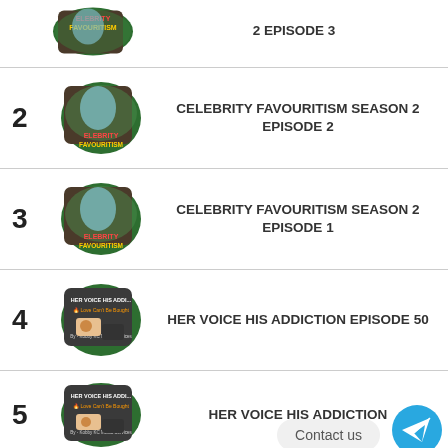CELEBRITY FAVOURITISM SEASON 2 EPISODE 3
2 CELEBRITY FAVOURITISM SEASON 2 EPISODE 2
3 CELEBRITY FAVOURITISM SEASON 2 EPISODE 1
4 HER VOICE HIS ADDICTION EPISODE 50
5 HER VOICE HIS ADDICTION